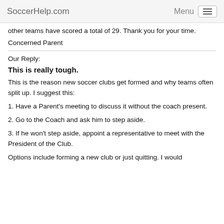SoccerHelp.com   Menu
other teams have scored a total of 29. Thank you for your time.
Concerned Parent
Our Reply:
This is really tough.
This is the reason new soccer clubs get formed and why teams often split up. I suggest this:
1. Have a Parent's meeting to discuss it without the coach present.
2. Go to the Coach and ask him to step aside.
3. If he won't step aside, appoint a representative to meet with the President of the Club.
Options include forming a new club or just quitting. I would